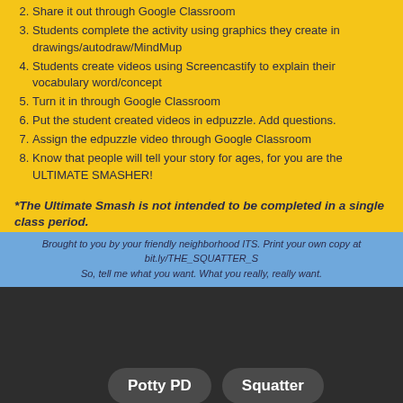2. Share it out through Google Classroom
3. Students complete the activity using graphics they create in drawings/autodraw/MindMup
4. Students create videos using Screencastify to explain their vocabulary word/concept
5. Turn it in through Google Classroom
6. Put the student created videos in edpuzzle. Add questions.
7. Assign the edpuzzle video through Google Classroom
8. Know that people will tell your story for ages, for you are the ULTIMATE SMASHER!
*The Ultimate Smash is not intended to be completed in a single class period.
Brought to you by your friendly neighborhood ITS. Print your own copy at bit.ly/THE_SQUATTER_S
So, tell me what you want. What you really, really want.
Potty PD
Squatter
Enter Comment